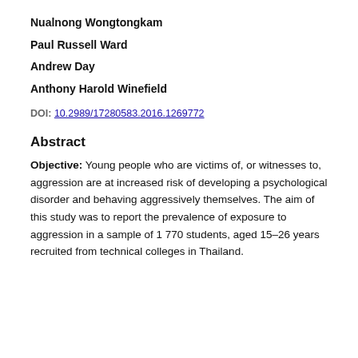Nualnong Wongtongkam
Paul Russell Ward
Andrew Day
Anthony Harold Winefield
DOI: 10.2989/17280583.2016.1269772
Abstract
Objective: Young people who are victims of, or witnesses to, aggression are at increased risk of developing a psychological disorder and behaving aggressively themselves. The aim of this study was to report the prevalence of exposure to aggression in a sample of 1 770 students, aged 15–26 years recruited from technical colleges in Thailand.